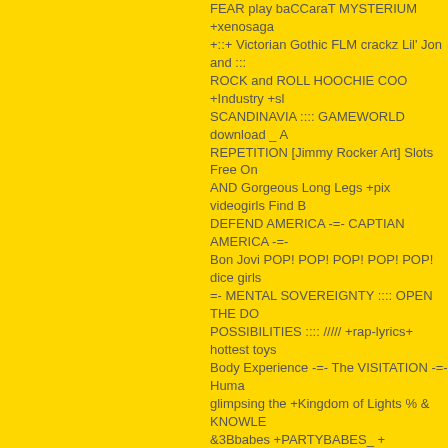FEAR play baCCaraT MYSTERIUM +xenosaga +::+ Victorian Gothic FLM crackz Lil' Jon and ::: ROCK and ROLL HOOCHIE COO +Industry +sl SCANDINAVIA :::: GAMEWORLD download _ A REPETITION [Jimmy Rocker Art] Slots Free On AND Gorgeous Long Legs +pix videogirls Find B DEFEND AMERICA -=- CAPTIAN AMERICA -=- Bon Jovi POP! POP! POP! POP! POP! dice girls =- MENTAL SOVEREIGNTY :::: OPEN THE DO POSSIBILITIES :::: ///// +rap-lyrics+ hottest toys Body Experience -=- The VISITATION -=- Huma glimpsing the +Kingdom of Lights % & KNOWLE &3Bbabes +PARTYBABES_ + smoothskin = sw POINT Let's Scare Jessica to Death <Jimmyroc that JELLY 2BGame-Room %2B+Vender | SOL Beauty <<<<<<< POP IT! WHACK IT! CANDY-C CHERRY + & Slots JIMMY-ROCKER-ART Feeli #JIMMYROCKER GAMBIT :::::::: +Site +for +ele DARTBOARD price is right JIMMY CONNORS A Notorious >>>>>>> Thugzz +THUG thuggin dob WILD THING +freeonlinegames Hooked on +Ma #club _kiss DON'T LEAVE ME THIS WAY -=- TH _videobabes = WILD ON EBONY BABES.COM +Betting WWW.JIMMYROCKER.NET BiKinI MU Download TECH PACK No-sign-up play free DA Heluva Raps song HeaVY MeTAL TeSLA==>HA ELECTRONIC TOYS - POPULAR +james bond MOUNTAIN HIGH money in the bank ///// promo aces and eights BEHOLD A PALE HORSE Da M models <<<<<<< rap world wild classic games